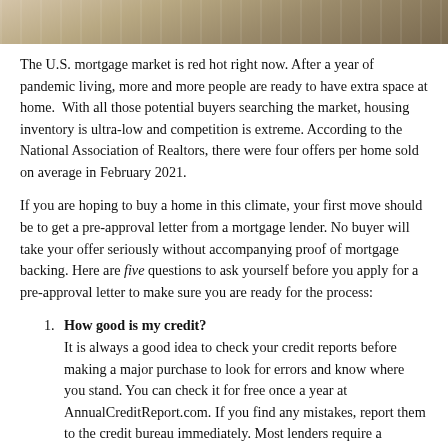[Figure (photo): A cropped photo showing what appears to be a desk scene with books or documents, in warm brown and tan tones.]
The U.S. mortgage market is red hot right now. After a year of pandemic living, more and more people are ready to have extra space at home.  With all those potential buyers searching the market, housing inventory is ultra-low and competition is extreme. According to the National Association of Realtors, there were four offers per home sold on average in February 2021.
If you are hoping to buy a home in this climate, your first move should be to get a pre-approval letter from a mortgage lender. No buyer will take your offer seriously without accompanying proof of mortgage backing. Here are five questions to ask yourself before you apply for a pre-approval letter to make sure you are ready for the process:
How good is my credit? It is always a good idea to check your credit reports before making a major purchase to look for errors and know where you stand. You can check it for free once a year at AnnualCreditReport.com. If you find any mistakes, report them to the credit bureau immediately. Most lenders require a minimum credit